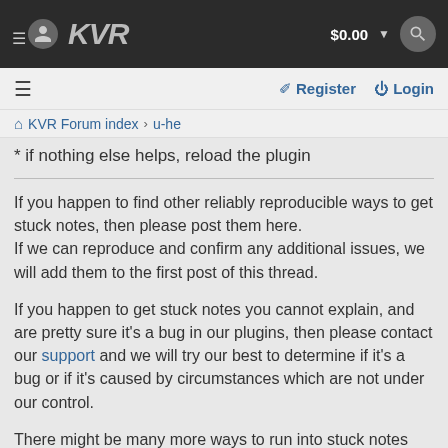KVR  $0.00  [search]
≡   Register   Login
KVR Forum index › u-he
* if nothing else helps, reload the plugin
If you happen to find other reliably reproducible ways to get stuck notes, then please post them here.
If we can reproduce and confirm any additional issues, we will add them to the first post of this thread.
If you happen to get stuck notes you cannot explain, and are pretty sure it's a bug in our plugins, then please contact our support and we will try our best to determine if it's a bug or if it's caused by circumstances which are not under our control.
There might be many more ways to run into stuck notes than listed here.